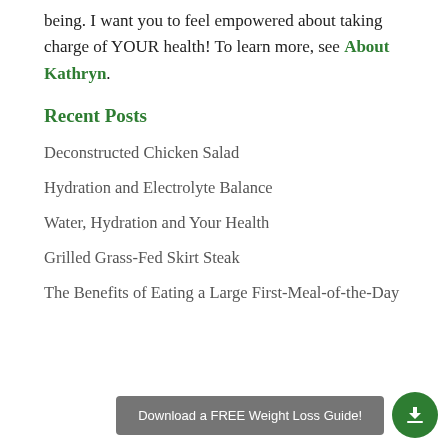being. I want you to feel empowered about taking charge of YOUR health! To learn more, see About Kathryn.
Recent Posts
Deconstructed Chicken Salad
Hydration and Electrolyte Balance
Water, Hydration and Your Health
Grilled Grass-Fed Skirt Steak
The Benefits of Eating a Large First-Meal-of-the-Day
Download a FREE Weight Loss Guide!